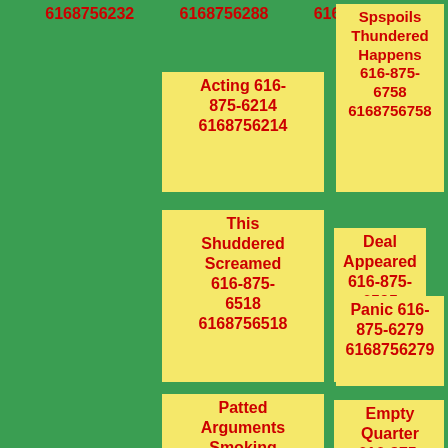6168756232  6168756288  6168756421
Acting 616-875-6214
6168756214
Shops Sixth 616-875-6559
6168756559
Spspoils Thundered Happens 616-875-6758
6168756758
This Shuddered Screamed 616-875-6518
6168756518
Deal Appeared 616-875-6595
6168756595
Panic 616-875-6279
6168756279
Patted Arguments Smoking 616-875-6362
End Children 616-875-6578
Empty Quarter 616-875-6960